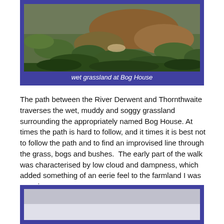[Figure (photo): Photograph of wet grassland at Bog House, showing green and brown grasses with mossy ground]
wet grassland at Bog House
The path between the River Derwent and Thornthwaite traverses the wet, muddy and soggy grassland surrounding the appropriately named Bog House. At times the path is hard to follow, and it times it is best not to follow the path and to find an improvised line through the grass, bogs and bushes.  The early part of the walk was characterised by low cloud and dampness, which added something of an eerie feel to the farmland I was crossing.
[Figure (photo): Second photograph, partially visible at bottom of page, appears to show a misty or overcast landscape]